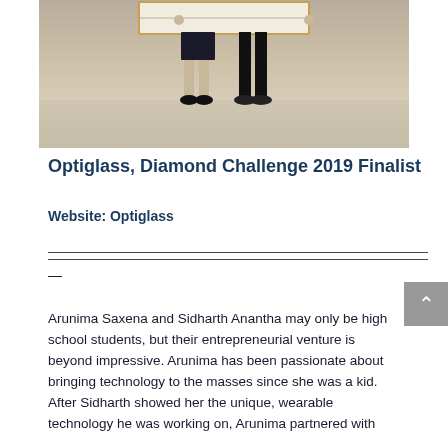[Figure (photo): Photo of two people (legs visible) holding a sign/board, standing on a tiled outdoor surface]
Optiglass, Diamond Challenge 2019 Finalist
Website: Optiglass
—
Arunima Saxena and Sidharth Anantha may only be high school students, but their entrepreneurial venture is beyond impressive. Arunima has been passionate about bringing technology to the masses since she was a kid. After Sidharth showed her the unique, wearable technology he was working on, Arunima partnered with